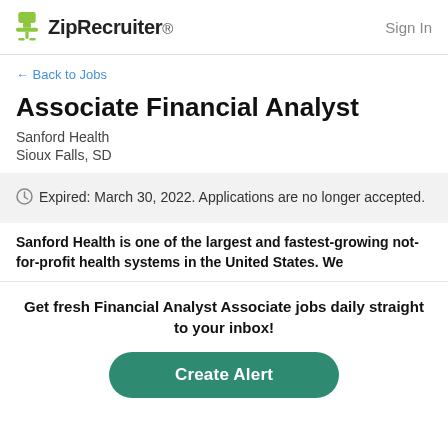ZipRecruiter  Sign In
← Back to Jobs
Associate Financial Analyst
Sanford Health
Sioux Falls, SD
Expired: March 30, 2022. Applications are no longer accepted.
Sanford Health is one of the largest and fastest-growing not-for-profit health systems in the United States. We
Get fresh Financial Analyst Associate jobs daily straight to your inbox!
Create Alert